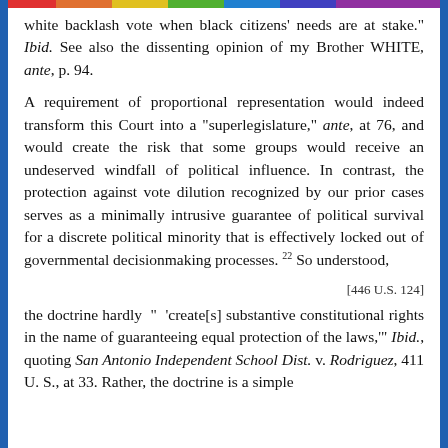white backlash vote when black citizens' needs are at stake." Ibid. See also the dissenting opinion of my Brother WHITE, ante, p. 94.
A requirement of proportional representation would indeed transform this Court into a "super-legislature," ante, at 76, and would create the risk that some groups would receive an undeserved windfall of political influence. In contrast, the protection against vote dilution recognized by our prior cases serves as a minimally intrusive guarantee of political survival for a discrete political minority that is effectively locked out of governmental decisionmaking processes. 22 So understood,
[446 U.S. 124]
the doctrine hardly " 'create[s] substantive constitutional rights in the name of guaranteeing equal protection of the laws,'" Ibid., quoting San Antonio Independent School Dist. v. Rodriguez, 411 U. S., at 33. Rather, the doctrine is a simple